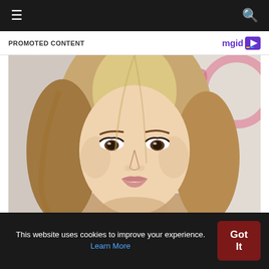≡  🔍
PROMOTED CONTENT  mgid ▶
[Figure (photo): Close-up portrait photo of a blonde woman looking at the camera, in front of a light background with partial text/logo visible]
Top 10 Must-Know Facts About Ivanka Trump
BRAINBERRIES
This website uses cookies to improve your experience. Learn More  Got It